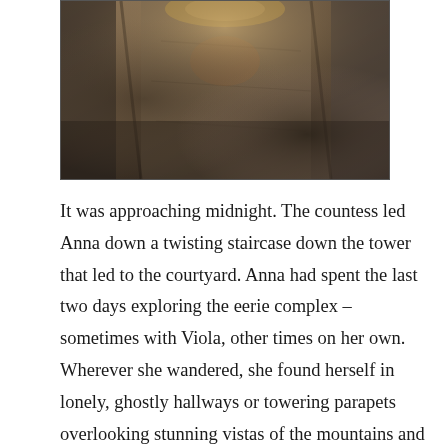[Figure (photo): Dark, moody photograph of an old stone or metal structure, possibly a tower wall or dungeon, with mottled textures in browns, grays, and blacks suggesting age and dampness.]
It was approaching midnight. The countess led Anna down a twisting staircase down the tower that led to the courtyard. Anna had spent the last two days exploring the eerie complex – sometimes with Viola, other times on her own. Wherever she wandered, she found herself in lonely, ghostly hallways or towering parapets overlooking stunning vistas of the mountains and primeval forests. She was sure Keep Mundilfari held many, many dark secrets, some of them probably in stale libraries or dank basements that she didn't dare to set foot in.